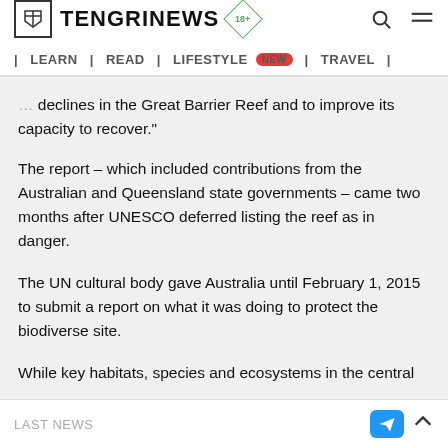TENGRINEWS 18+
| LEARN | READ | LIFESTYLE NEW | TRAVEL |
declines in the Great Barrier Reef and to improve its capacity to recover."
The report – which included contributions from the Australian and Queensland state governments – came two months after UNESCO deferred listing the reef as in danger.
The UN cultural body gave Australia until February 1, 2015 to submit a report on what it was doing to protect the biodiverse site.
While key habitats, species and ecosystems in the central
LAST NEWS